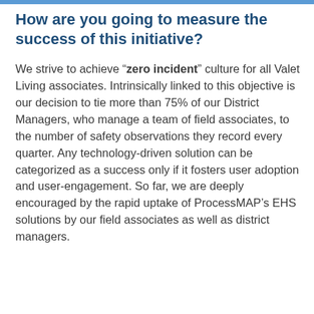How are you going to measure the success of this initiative?
We strive to achieve “zero incident” culture for all Valet Living associates. Intrinsically linked to this objective is our decision to tie more than 75% of our District Managers, who manage a team of field associates, to the number of safety observations they record every quarter. Any technology-driven solution can be categorized as a success only if it fosters user adoption and user-engagement. So far, we are deeply encouraged by the rapid uptake of ProcessMAP’s EHS solutions by our field associates as well as district managers.